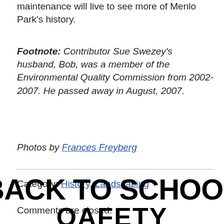maintenance will live to see more of Menlo Park's history.
Footnote:  Contributor Sue Swezey's husband, Bob, was a member of the Environmental Quality Commission from 2002-2007.  He passed away in August, 2007.
Photos by Frances Freyberg
Category: History, Landscaping
Comments are closed.
BACK TO SCHOOL